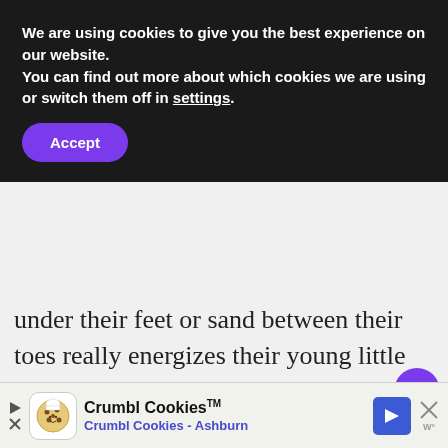We are using cookies to give you the best experience on our website.
You can find out more about which cookies we are using or switch them off in settings.
Accept
under their feet or sand between their toes really energizes their young little hearts to protect our planet.
[Figure (illustration): Dark space illustration with planets including Saturn with rings and stars, and an astronaut figure drawn in teal outline style.]
WHAT'S NEXT → 6 Outdoor Weekday Da...
Crumbl Cookies™  Crumbl Cookies - Ashburn